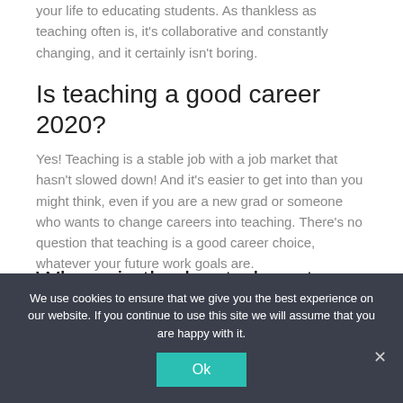your life to educating students. As thankless as teaching often is, it's collaborative and constantly changing, and it certainly isn't boring.
Is teaching a good career 2020?
Yes! Teaching is a stable job with a job market that hasn't slowed down! And it's easier to get into than you might think, even if you are a new grad or someone who wants to change careers into teaching. There's no question that teaching is a good career choice, whatever your future work goals are.
Where is the best place to live as a teacher?
We use cookies to ensure that we give you the best experience on our website. If you continue to use this site we will assume that you are happy with it.